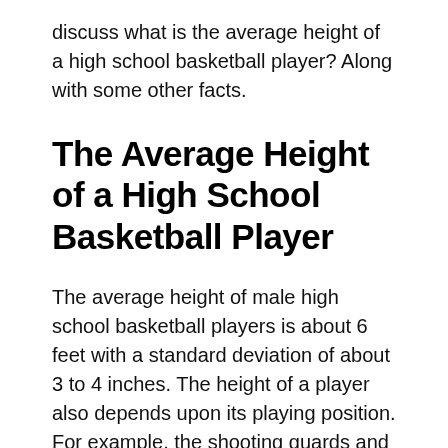discuss what is the average height of a high school basketball player? Along with some other facts.
The Average Height of a High School Basketball Player
The average height of male high school basketball players is about 6 feet with a standard deviation of about 3 to 4 inches. The height of a player also depends upon its playing position. For example, the shooting guards and point guards usually